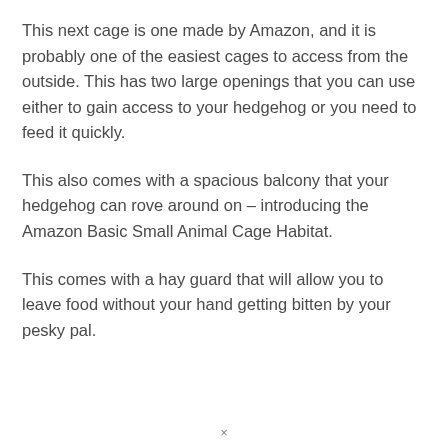This next cage is one made by Amazon, and it is probably one of the easiest cages to access from the outside. This has two large openings that you can use either to gain access to your hedgehog or you need to feed it quickly.
This also comes with a spacious balcony that your hedgehog can rove around on – introducing the Amazon Basic Small Animal Cage Habitat.
This comes with a hay guard that will allow you to leave food without your hand getting bitten by your pesky pal.
×